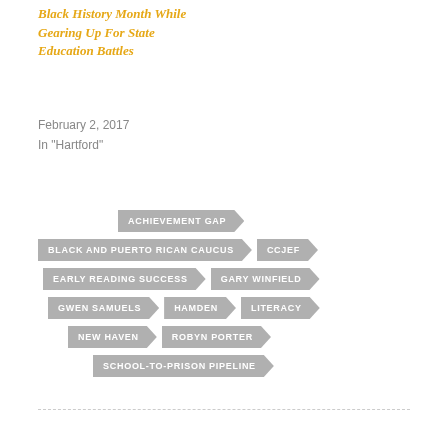Black History Month While Gearing Up For State Education Battles
February 2, 2017
In "Hartford"
[Figure (infographic): Tag cloud of arrow-shaped grey tags representing topic labels: ACHIEVEMENT GAP, BLACK AND PUERTO RICAN CAUCUS, CCJEF, EARLY READING SUCCESS, GARY WINFIELD, GWEN SAMUELS, HAMDEN, LITERACY, NEW HAVEN, ROBYN PORTER, SCHOOL-TO-PRISON PIPELINE]